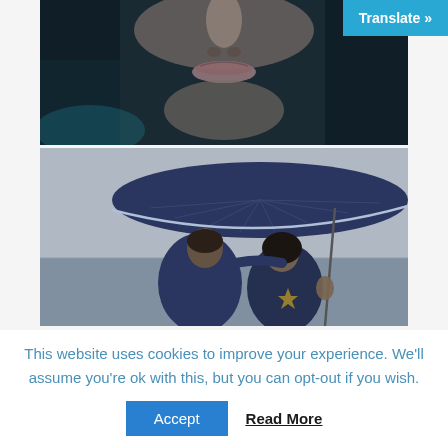[Figure (photo): Close-up photo of a person's lower face (nose, lips, chin) with dark background and teal/blue tones]
[Figure (illustration): Painting of two people facing each other under a large dark blue umbrella, viewed from behind, in rain-like gray atmosphere]
This website uses cookies to improve your experience. We'll assume you're ok with this, but you can opt-out if you wish.
Accept
Read More